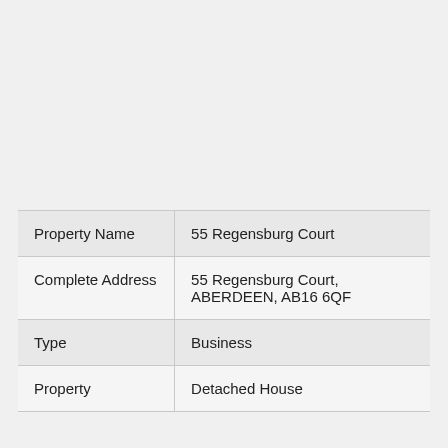| Property Name | 55 Regensburg Court |
| Complete Address | 55 Regensburg Court, ABERDEEN, AB16 6QF |
| Type | Business |
| Property | Detached House |